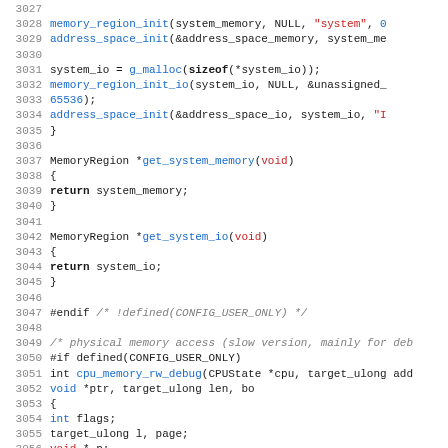[Figure (screenshot): Source code listing showing C code for memory region initialization and debug functions, lines 3028-3059, with syntax highlighting: line numbers in gray, keywords in bold black, function names in blue, string literals in red, comments in gray italic.]